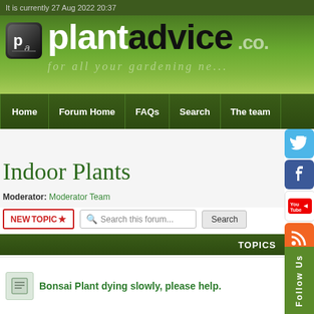It is currently 27 Aug 2022 20:37
[Figure (logo): plantadvice.co. logo with green gradient background and tagline 'for all your gardening ne...']
Home | Forum Home | FAQs | Search | The team
Indoor Plants
Moderator: Moderator Team
NEWTOPIC* | Search this forum... | Search
TOPICS
Bonsai Plant dying slowly, please help.